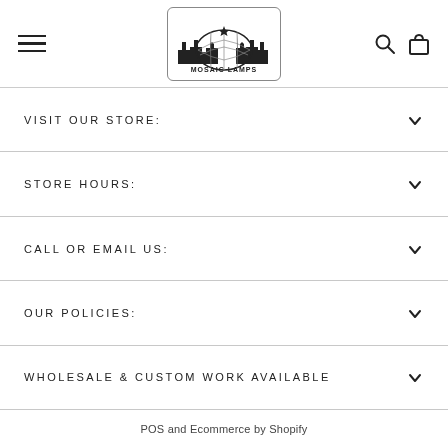Mosaic Lamps - Navigation Header
VISIT OUR STORE:
STORE HOURS:
CALL OR EMAIL US:
OUR POLICIES:
WHOLESALE & CUSTOM WORK AVAILABLE
POS and Ecommerce by Shopify